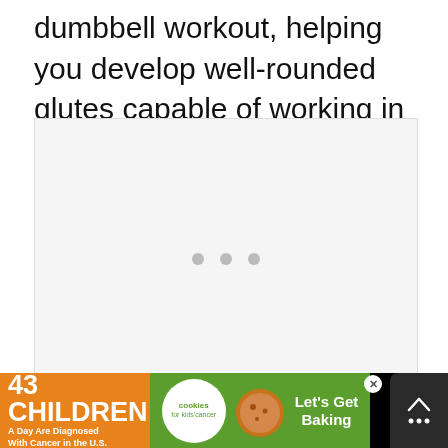dumbbell workout, helping you develop well-rounded glutes capable of working in multiple directions.
[Figure (other): Empty image placeholder with three gray loading dots centered in the middle]
[Figure (infographic): Advertisement banner: '43 CHILDREN A Day Are Diagnosed With Cancer in the U.S.' with cookies for kids cancer logo and 'Let's Get Baking' text on orange/green background. Includes close button and scroll-to-top button.]